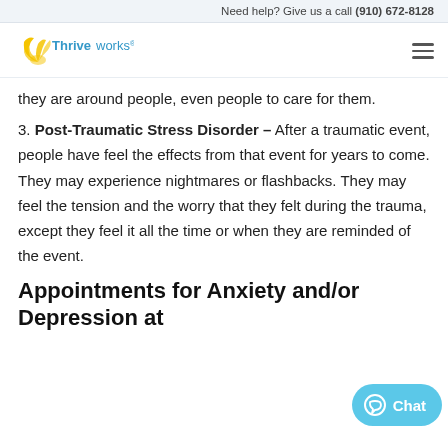Need help? Give us a call (910) 672-8128
they are around people, even people to care for them.
3. Post-Traumatic Stress Disorder – After a traumatic event, people have feel the effects from that event for years to come. They may experience nightmares or flashbacks. They may feel the tension and the worry that they felt during the trauma, except they feel it all the time or when they are reminded of the event.
Appointments for Anxiety and/or Depression at